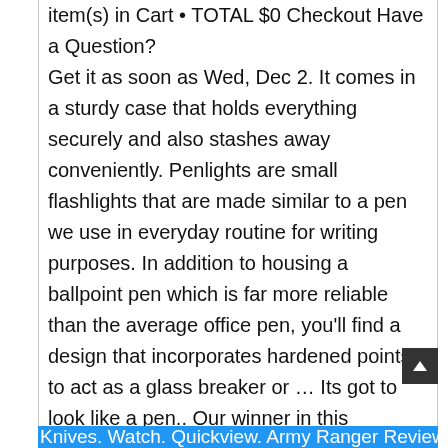item(s) in Cart • TOTAL $0 Checkout Have a Question?
Get it as soon as Wed, Dec 2. It comes in a sturdy case that holds everything securely and also stashes away conveniently. Penlights are small flashlights that are made similar to a pen we use in everyday routine for writing purposes. In addition to housing a ballpoint pen which is far more reliable than the average office pen, you'll find a design that incorporates hardened points to act as a glass breaker or … Its got to look like a pen.. Our winner in this category is the Rebel Tactical Pen from Atomic Bear (Buy on Amazon).. Go ahead and take another look, it is almost indistinguishable from a regular pen. Military … Did you … In Stock. 6 watching. Free shipping . special $111.71 reg. Menu. Free shipping . $23.50. These reliable tools for everyday and tactical use are mainly for writing but also sturdy enough to help even in an emergency. $16.69. Flashlights 3 items.
Knives. Watch. Quickview. Army Ranger Reviews the